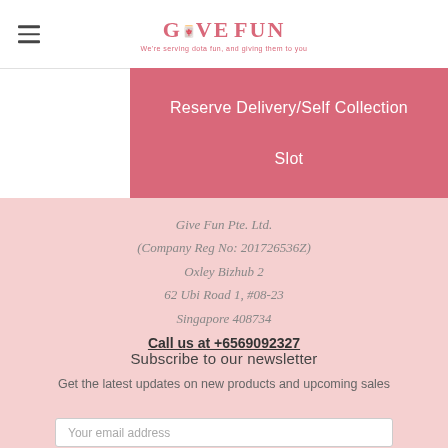[Figure (logo): Give Fun logo with tagline 'We're serving dota fun, and giving them to you']
Reserve Delivery/Self Collection Slot
Give Fun Pte. Ltd.
(Company Reg No: 201726536Z)
Oxley Bizhub 2
62 Ubi Road 1, #08-23
Singapore 408734
Call us at +6569092327
Subscribe to our newsletter
Get the latest updates on new products and upcoming sales
Your email address